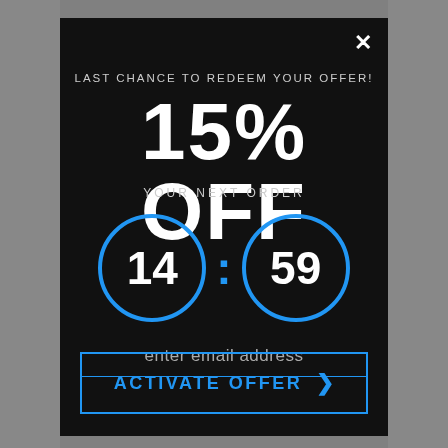[Figure (screenshot): Modal popup with dark background showing a 15% OFF promotional offer with countdown timer (14:59), email input field, and ACTIVATE OFFER button with blue accents on grey background]
LAST CHANCE TO REDEEM YOUR OFFER!
15% OFF
YOUR NEXT ORDER
14 : 59
enter email address
ACTIVATE OFFER